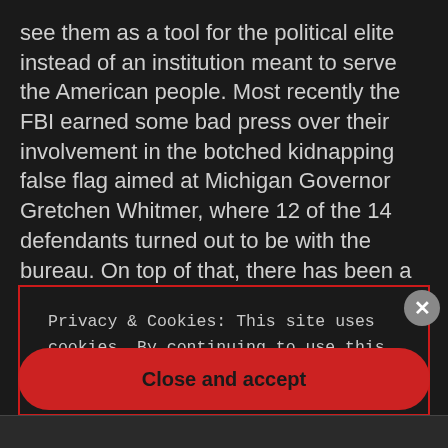see them as a tool for the political elite instead of an institution meant to serve the American people. Most recently the FBI earned some bad press over their involvement in the botched kidnapping false flag aimed at Michigan Governor Gretchen Whitmer, where 12 of the 14 defendants turned out to be with the bureau. On top of that, there has been a slew of incidents where agents dressed in plain clothes
Privacy & Cookies: This site uses cookies. By continuing to use this website, you agree to their use. To find out more, including how to control cookies, see here: Cookie Policy
Close and accept